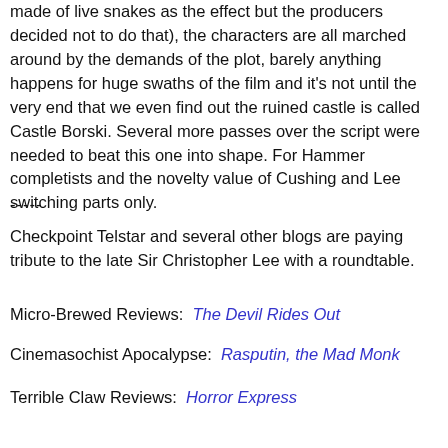made of live snakes as the effect but the producers decided not to do that), the characters are all marched around by the demands of the plot, barely anything happens for huge swaths of the film and it's not until the very end that we even find out the ruined castle is called Castle Borski. Several more passes over the script were needed to beat this one into shape. For Hammer completists and the novelty value of Cushing and Lee switching parts only.
-----
Checkpoint Telstar and several other blogs are paying tribute to the late Sir Christopher Lee with a roundtable.
Micro-Brewed Reviews:  The Devil Rides Out
Cinemasochist Apocalypse:  Rasputin, the Mad Monk
Terrible Claw Reviews:  Horror Express